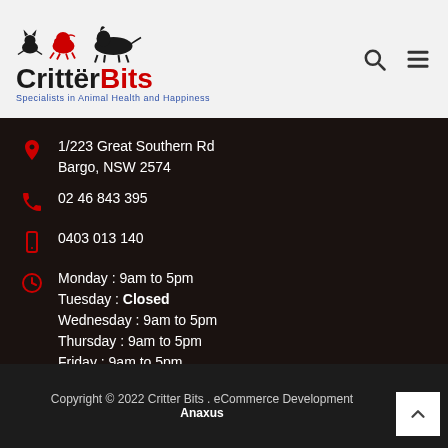[Figure (logo): CritterBits logo with animal silhouettes (cat, dog, horse) and tagline 'Specialists in Animal Health and Happiness']
1/223 Great Southern Rd
Bargo, NSW 2574
02 46 843 395
0403 013 140
Monday : 9am to 5pm
Tuesday : Closed
Wednesday : 9am to 5pm
Thursday : 9am to 5pm
Friday : 9am to 5pm
Sat - Sun : 9am to 1pm
Copyright © 2022 Critter Bits . eCommerce Development by Anaxus